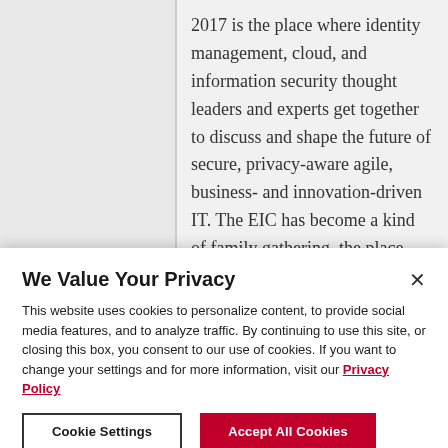2017 is the place where identity management, cloud, and information security thought leaders and experts get together to discuss and shape the future of secure, privacy-aware agile, business- and innovation-driven IT. The EIC has become a kind of family gathering, the place where the global identity and cloud community meets
We Value Your Privacy
This website uses cookies to personalize content, to provide social media features, and to analyze traffic. By continuing to use this site, or closing this box, you consent to our use of cookies. If you want to change your settings and for more information, visit our Privacy Policy
Cookie Settings
Accept All Cookies